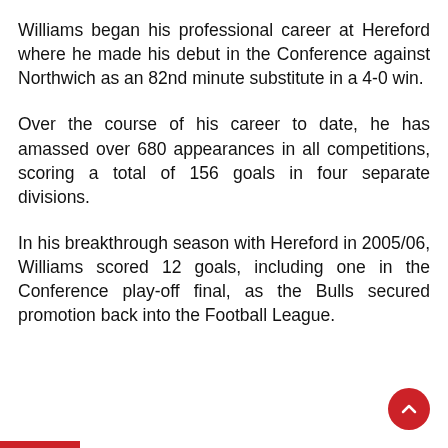Williams began his professional career at Hereford where he made his debut in the Conference against Northwich as an 82nd minute substitute in a 4-0 win.
Over the course of his career to date, he has amassed over 680 appearances in all competitions, scoring a total of 156 goals in four separate divisions.
In his breakthrough season with Hereford in 2005/06, Williams scored 12 goals, including one in the Conference play-off final, as the Bulls secured promotion back into the Football League.